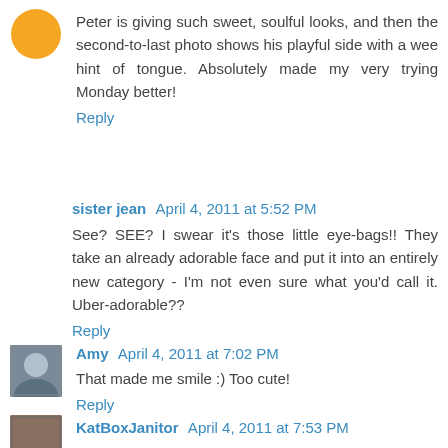Peter is giving such sweet, soulful looks, and then the second-to-last photo shows his playful side with a wee hint of tongue. Absolutely made my very trying Monday better!
Reply
sister jean  April 4, 2011 at 5:52 PM
See? SEE? I swear it's those little eye-bags!! They take an already adorable face and put it into an entirely new category - I'm not even sure what you'd call it. Uber-adorable??
Reply
Amy  April 4, 2011 at 7:02 PM
That made me smile :) Too cute!
Reply
KatBoxJanitor  April 4, 2011 at 7:53 PM